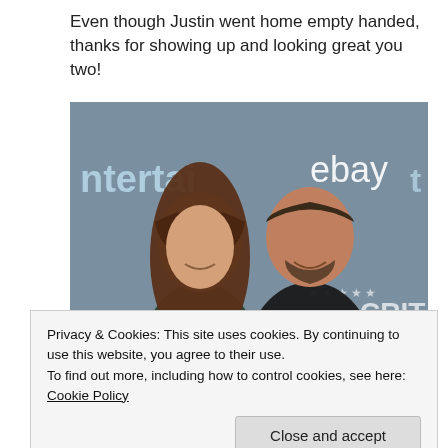Even though Justin went home empty handed, thanks for showing up and looking great you two!
[Figure (photo): A couple posing at a Critics' Choice event with Entertainment Weekly and eBay branding visible in the background. A woman with long brown hair and a man in a black suit smile at the camera.]
Privacy & Cookies: This site uses cookies. By continuing to use this website, you agree to their use.
To find out more, including how to control cookies, see here: Cookie Policy